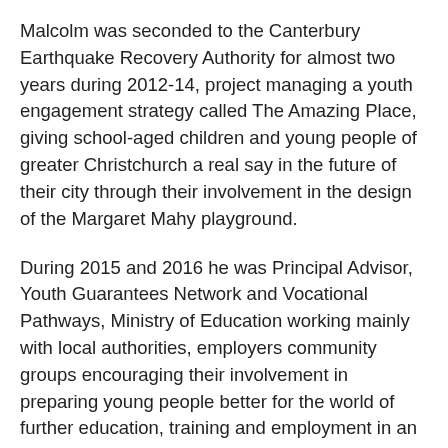Malcolm was seconded to the Canterbury Earthquake Recovery Authority for almost two years during 2012-14, project managing a youth engagement strategy called The Amazing Place, giving school-aged children and young people of greater Christchurch a real say in the future of their city through their involvement in the design of the Margaret Mahy playground.
During 2015 and 2016 he was Principal Advisor, Youth Guarantees Network and Vocational Pathways, Ministry of Education working mainly with local authorities, employers community groups encouraging their involvement in preparing young people better for the world of further education, training and employment in an exciting, but challenging, future.
He now works with senior leaders in the public and private sectors via leadership coaching, strategic planning, team culture development and special projects through his Silververve practice.